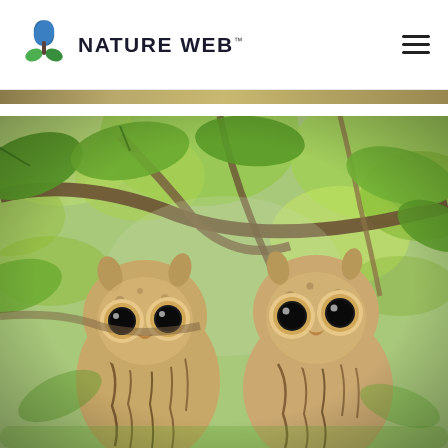NATURE WEB
[Figure (photo): Two young owls (likely Indian Scops Owls or similar species) perched among green leafy branches and tree branches. The owls have large black eyes, fluffy tan/cream and brown streaked feathers, and small ear tufts. They are looking directly at the camera. The background shows bright green tropical leaves blurred in bokeh.]